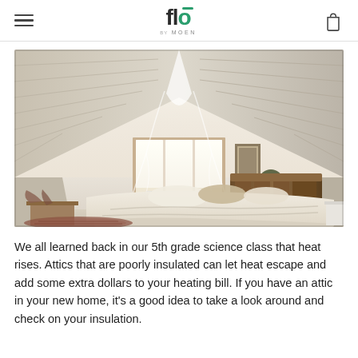flo BY MOEN
[Figure (photo): Attic bedroom with sloped white wood-paneled ceiling, a double bed with white and tan bedding, wooden headboard, a white radiator heater under a triple-pane window, a canopy above the bed, a small framed picture on the wall, a plant in the corner, and a patterned rug on the floor.]
We all learned back in our 5th grade science class that heat rises. Attics that are poorly insulated can let heat escape and add some extra dollars to your heating bill. If you have an attic in your new home, it's a good idea to take a look around and check on your insulation.